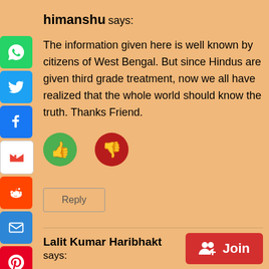himanshu says:
The information given here is well known by citizens of West Bengal. But since Hindus are given third grade treatment, now we all have realized that the whole world should know the truth. Thanks Friend.
[Figure (other): Thumbs up (like) button in green circle and thumbs down (dislike) button in red/dark circle]
Reply
Lalit Kumar Haribhakt says:
[Figure (other): Join button in red with people icon]